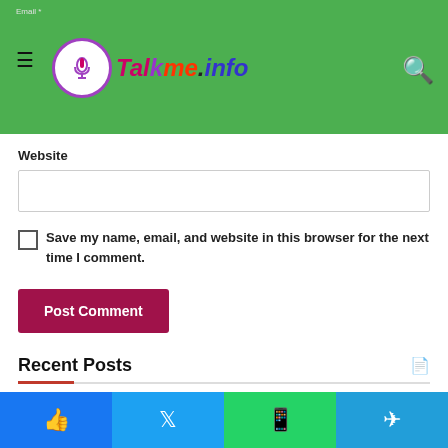Email * | Talkme.info logo | Search
Website
Save my name, email, and website in this browser for the next time I comment.
Post Comment
Recent Posts
Mastitis and Clogged Ducts: What's the Difference?
Facebook | Twitter | WhatsApp | Telegram